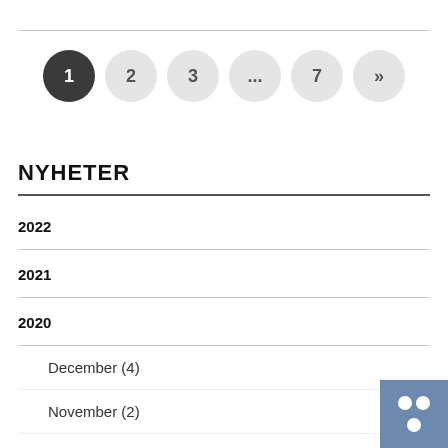[Figure (other): Pagination control with circular buttons: 1 (active/dark), 2, 3, ..., 7, >>]
NYHETER
2022
2021
2020
December (4)
November (2)
Oktober (4)
September (3)